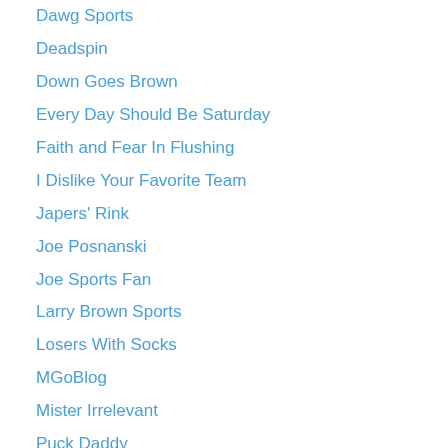Dawg Sports
Deadspin
Down Goes Brown
Every Day Should Be Saturday
Faith and Fear In Flushing
I Dislike Your Favorite Team
Japers' Rink
Joe Posnanski
Joe Sports Fan
Larry Brown Sports
Losers With Socks
MGoBlog
Mister Irrelevant
Puck Daddy
Randball
Shutdown Corner
Sporting News
Sports on Earth
The 700 Level
The Bog / Stir